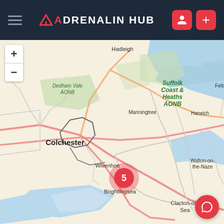Adrenalin Hub - navigation header with hamburger menu, logo, user icon and add button
[Figure (map): Interactive map showing Essex/Suffolk coast of England including locations: Hadleigh, Dedham Vale AONB, Suffolk Coast & Heaths AONB, Manningtree, Felixstowe, Harwich, Colchester, Wivenhoe, Walton-on-the-Naze, Brightlingsea, Clacton-on-Sea, with a cluster marker showing 5 activities near Brightlingsea/Clacton area. Map has zoom +/- controls top left and a chat bubble button bottom right.]